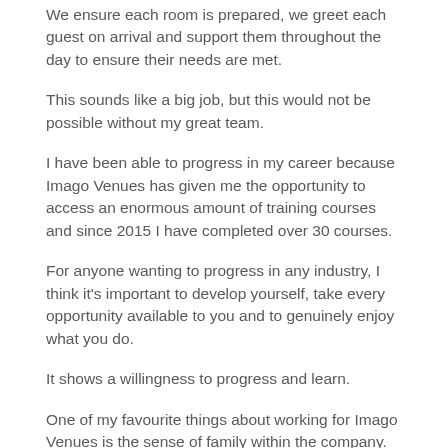We ensure each room is prepared, we greet each guest on arrival and support them throughout the day to ensure their needs are met.
This sounds like a big job, but this would not be possible without my great team.
I have been able to progress in my career because Imago Venues has given me the opportunity to access an enormous amount of training courses and since 2015 I have completed over 30 courses.
For anyone wanting to progress in any industry, I think it's important to develop yourself, take every opportunity available to you and to genuinely enjoy what you do.
It shows a willingness to progress and learn.
One of my favourite things about working for Imago Venues is the sense of family within the company. I'm very grateful that Imago invests so much in its people, giving us the opportunity to progress and develop in our roles.